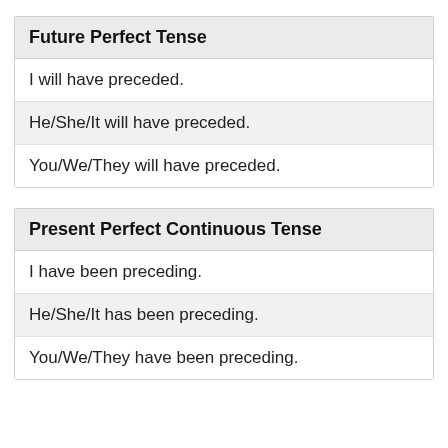Future Perfect Tense
I will have preceded.
He/She/It will have preceded.
You/We/They will have preceded.
Present Perfect Continuous Tense
I have been preceding.
He/She/It has been preceding.
You/We/They have been preceding.